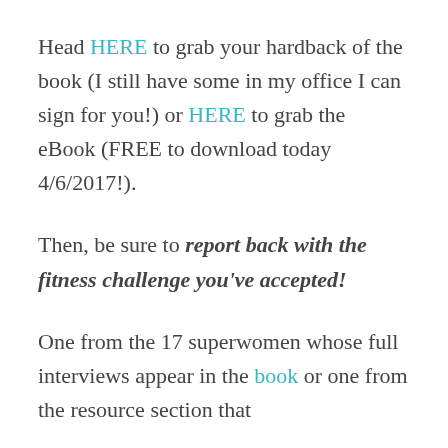Head HERE to grab your hardback of the book (I still have some in my office I can sign for you!) or HERE to grab the eBook (FREE to download today 4/6/2017!).
Then, be sure to report back with the fitness challenge you've accepted!
One from the 17 superwomen whose full interviews appear in the book or one from the resource section that includes fitness challenges from...